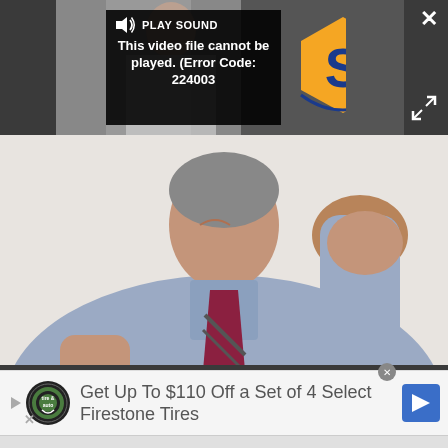[Figure (screenshot): Video player UI with dark background showing 'PLAY SOUND' label with speaker icon and an error overlay reading 'This video file cannot be played. (Error Code: 224003)'. An LS logo is visible to the right. A white X close button is top right, and an expand icon is bottom right.]
[Figure (photo): Photograph of a stressed businessman in a blue shirt and striped tie, leaning forward with hand on head, appearing frustrated or worried, writing on paper.]
Get Up To $110 Off a Set of 4 Select Firestone Tires